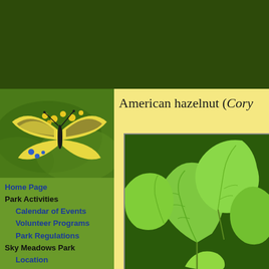[Figure (photo): Dark green header banner at the top of the page]
[Figure (photo): Eastern tiger swallowtail butterfly on yellow goldenrod flowers, with green foliage background]
American hazelnut (Cory…
[Figure (photo): Close-up photograph of American hazelnut leaves (Corylus americana), showing large heart-shaped green leaves with visible veining]
Home Page
Park Activities
Calendar of Events
Volunteer Programs
Park Regulations
Sky Meadows Park
Location
Geography
Habitats
Trails